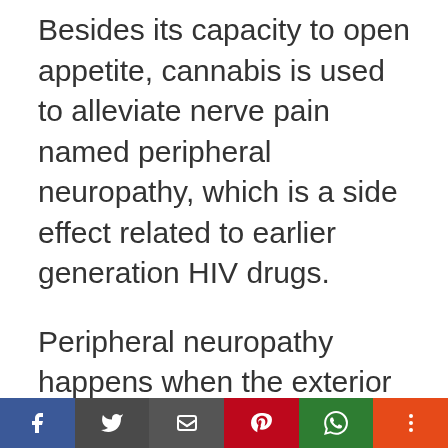Besides its capacity to open appetite, cannabis is used to alleviate nerve pain named peripheral neuropathy, which is a side effect related to earlier generation HIV drugs.
Peripheral neuropathy happens when the exterior sheath that covers nerve cells is removed. Once this occurs, the nerve endings are exposed can produce nasty pins and needles sensation which can eventually progress to a severely debilitating condition. In certain cases,
Facebook | Twitter | Email | Pinterest | WhatsApp | More